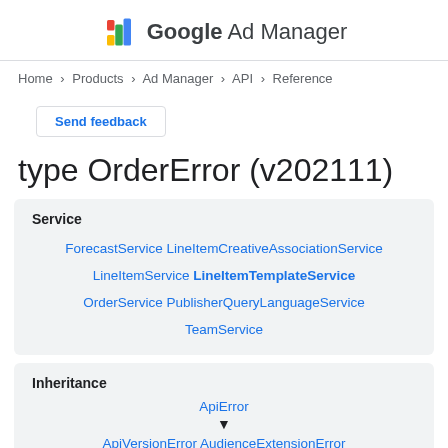Google Ad Manager
Home > Products > Ad Manager > API > Reference
Send feedback
type OrderError (v202111)
| Service |
| --- |
| ForecastService LineItemCreativeAssociationService LineItemService LineItemTemplateService OrderService PublisherQueryLanguageService TeamService |
| Inheritance |
| --- |
| ApiError |
| ▼ |
| ApiVersionError AudienceExtensionError |